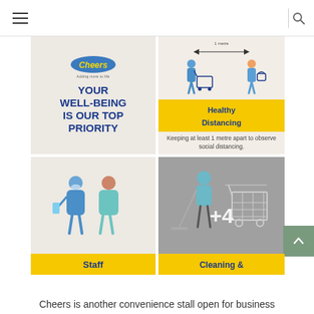Navigation header with hamburger menu and search icon
[Figure (infographic): Cheers convenience store safety infographic with four quadrants: (1) Cheers logo with text 'YOUR WELL-BEING IS OUR TOP PRIORITY', (2) Healthy Distancing - keeping at least 1 metre apart, (3) Staff panel, (4) Cleaning & panel with +4 overlay indicator]
Cheers is another convenience stall open for business